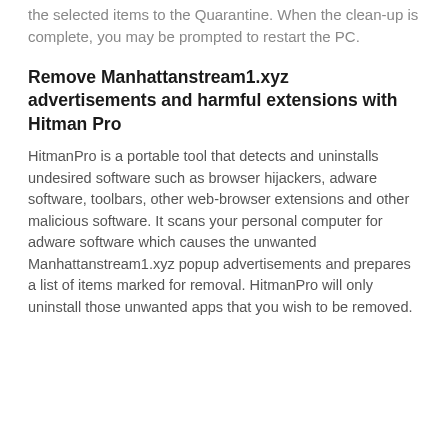the selected items to the Quarantine. When the clean-up is complete, you may be prompted to restart the PC.
Remove Manhattanstream1.xyz advertisements and harmful extensions with Hitman Pro
HitmanPro is a portable tool that detects and uninstalls undesired software such as browser hijackers, adware software, toolbars, other web-browser extensions and other malicious software. It scans your personal computer for adware software which causes the unwanted Manhattanstream1.xyz popup advertisements and prepares a list of items marked for removal. HitmanPro will only uninstall those unwanted apps that you wish to be removed.